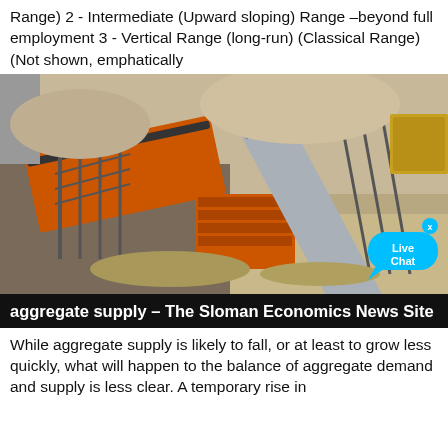Range) 2 - Intermediate (Upward sloping) Range –beyond full employment 3 - Vertical Range (long-run) (Classical Range) (Not shown, emphatically
[Figure (photo): Aerial view of an industrial aggregate/mining facility with orange conveyor belts, machinery, and crushed rock. A 'Live Chat' bubble overlay is visible in the bottom-right corner of the image.]
aggregate supply – The Sloman Economics News Site
While aggregate supply is likely to fall, or at least to grow less quickly, what will happen to the balance of aggregate demand and supply is less clear. A temporary rise in